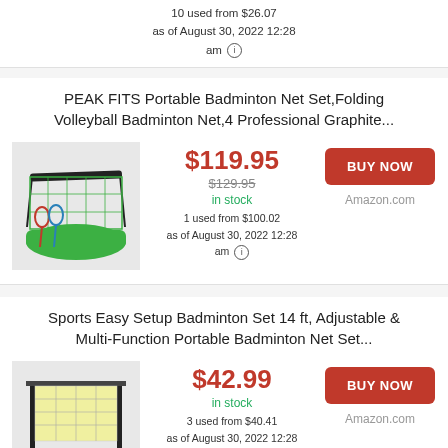10 used from $26.07
as of August 30, 2022 12:28 am
PEAK FITS Portable Badminton Net Set,Folding Volleyball Badminton Net,4 Professional Graphite...
[Figure (photo): Badminton net set with rackets and carrying case]
$119.95 (current price), $129.95 (original price), in stock, 1 used from $100.02, as of August 30, 2022 12:28 am
BUY NOW - Amazon.com
Sports Easy Setup Badminton Set 14 ft, Adjustable & Multi-Function Portable Badminton Net Set...
[Figure (photo): Portable badminton net set with stand]
$42.99 (current price), in stock, 3 used from $40.41, as of August 30, 2022 12:28 am
BUY NOW - Amazon.com